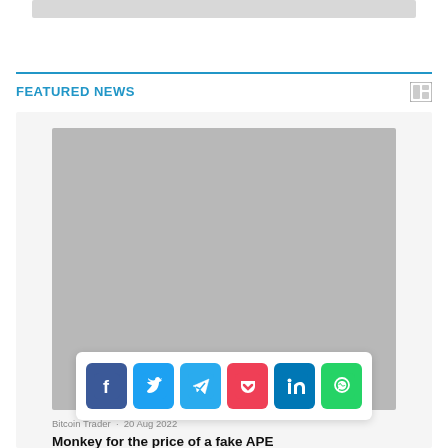[Figure (other): Top banner placeholder image (gray rectangle)]
FEATURED NEWS
[Figure (photo): Large gray placeholder image for article thumbnail]
[Figure (other): Social share bar with Facebook, Twitter, Telegram, Pocket, LinkedIn, WhatsApp buttons]
Bitcoin Trader · 20 Aug 2022
Monkey for the price of a fake APE